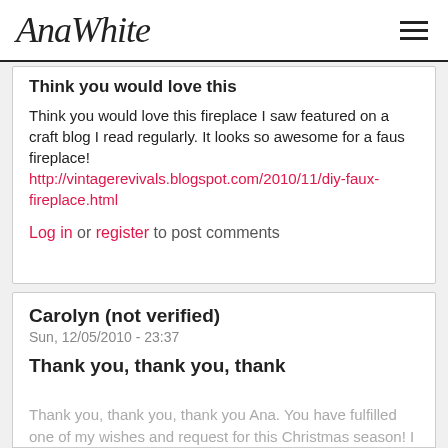AnaWhite
Think you would love this
Think you would love this fireplace I saw featured on a craft blog I read regularly. It looks so awesome for a faus fireplace!
http://vintagerevivals.blogspot.com/2010/11/diy-faux-fireplace.html
Log in or register to post comments
Carolyn (not verified)
Sun, 12/05/2010 - 23:37
Thank you, thank you, thank
Thank you, thank you, thank you Ana. You have fulfilled one of my wishes and request for this Christmas season! I love it! You are the most...